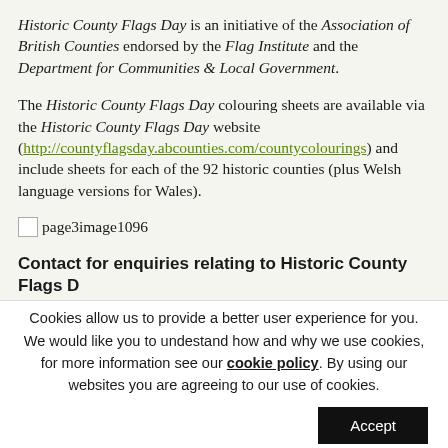Historic County Flags Day is an initiative of the Association of British Counties endorsed by the Flag Institute and the Department for Communities & Local Government.
The Historic County Flags Day colouring sheets are available via the Historic County Flags Day website (http://countyflagsday.abcounties.com/countycolourings) and include sheets for each of the 92 historic counties (plus Welsh language versions for Wales).
[Figure (other): Broken image placeholder labeled page3image1096]
Contact for enquiries relating to Historic County Flags Day
Cookies allow us to provide a better user experience for you. We would like you to undestand how and why we use cookies, for more information see our cookie policy. By using our websites you are agreeing to our use of cookies.